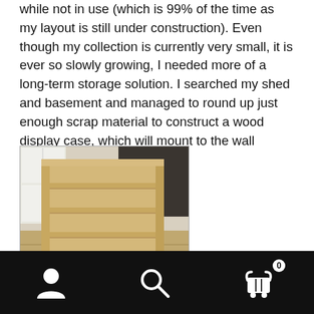while not in use (which is 99% of the time as my layout is still under construction). Even though my collection is currently very small, it is ever so slowly growing, I needed more of a long-term storage solution. I searched my shed and basement and managed to round up just enough scrap material to construct a wood display case, which will mount to the wall adjacent to my layout.
[Figure (photo): A wooden display case with multiple horizontal shelves, photographed on a tiled floor in front of white cabinets. The case appears to be made from light-colored wood and is leaning against a wall.]
Navigation bar with user icon, search icon, and shopping cart icon with badge showing 0